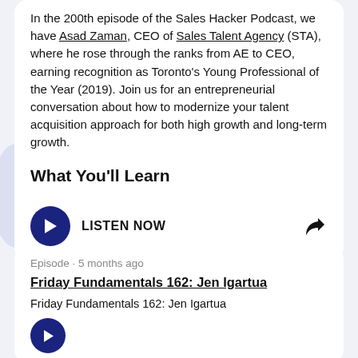In the 200th episode of the Sales Hacker Podcast, we have Asad Zaman, CEO of Sales Talent Agency (STA), where he rose through the ranks from AE to CEO, earning recognition as Toronto's Young Professional of the Year (2019). Join us for an entrepreneurial conversation about how to modernize your talent acquisition approach for both high growth and long-term growth.
What You'll Learn
[Figure (other): Dark navy blue circular play button with white triangle icon, followed by bold text LISTEN NOW, and a share/forward arrow icon on the right]
Episode · 5 months ago
Friday Fundamentals 162: Jen Igartua
Friday Fundamentals 162: Jen Igartua
[Figure (other): Dark navy blue circular play button (smaller)]